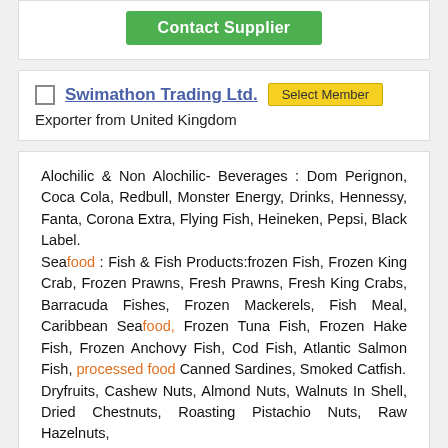[Figure (other): Contact Supplier green button]
Swimathon Trading Ltd.
Exporter from United Kingdom
Alochilic & Non Alochilic- Beverages : Dom Perignon, Coca Cola, Redbull, Monster Energy, Drinks, Hennessy, Fanta, Corona Extra, Flying Fish, Heineken, Pepsi, Black Label.
Seafood : Fish & Fish Products:frozen Fish, Frozen King Crab, Frozen Prawns, Fresh Prawns, Fresh King Crabs, Barracuda Fishes, Frozen Mackerels, Fish Meal, Caribbean Seafood, Frozen Tuna Fish, Frozen Hake Fish, Frozen Anchovy Fish, Cod Fish, Atlantic Salmon Fish, processed food Canned Sardines, Smoked Catfish.
Dryfruits, Cashew Nuts, Almond Nuts, Walnuts In Shell, Dried Chestnuts, Roasting Pistachio Nuts, Raw Hazelnuts,
Poultry Products : Table Eggs.
Spices : Fresh Red Chilli Pepper.
Pulses : Kidney Beans, Mung Beans.
Fruits and Vegetables : Pineapples, Pawpaw, Oranges, Watermelon, Banana, Kiwi, Dates, Guava, Oranges, Mango,